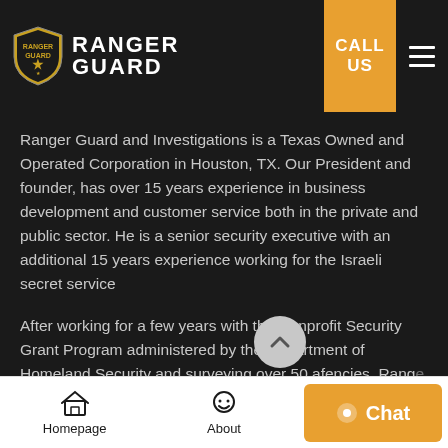[Figure (logo): Ranger Guard and Investigations logo with shield emblem and white text]
Ranger Guard and Investigations is a Texas Owned and Operated Corporation in Houston, TX. Our President and founder, has over 15 years experience in business development and customer service both in the private and public sector. He is a senior security executive with an additional 15 years experience working for the Israeli secret service
After working for a few years with the Nonprofit Security Grant Program administered by the Department of Homeland Security and surveying over 50 afencies, Ranger Guard realized that there is a tremendous need for a reliable
Homepage   About   Contact